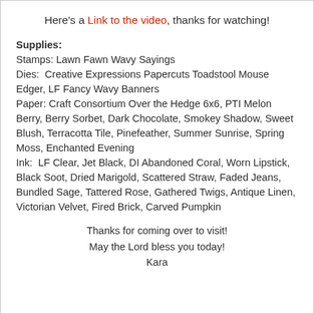Here's a Link to the video, thanks for watching!
Supplies:
Stamps: Lawn Fawn Wavy Sayings
Dies: Creative Expressions Papercuts Toadstool Mouse Edger, LF Fancy Wavy Banners
Paper: Craft Consortium Over the Hedge 6x6, PTI Melon Berry, Berry Sorbet, Dark Chocolate, Smokey Shadow, Sweet Blush, Terracotta Tile, Pinefeather, Summer Sunrise, Spring Moss, Enchanted Evening
Ink: LF Clear, Jet Black, DI Abandoned Coral, Worn Lipstick, Black Soot, Dried Marigold, Scattered Straw, Faded Jeans, Bundled Sage, Tattered Rose, Gathered Twigs, Antique Linen, Victorian Velvet, Fired Brick, Carved Pumpkin
Thanks for coming over to visit!
May the Lord bless you today!
Kara